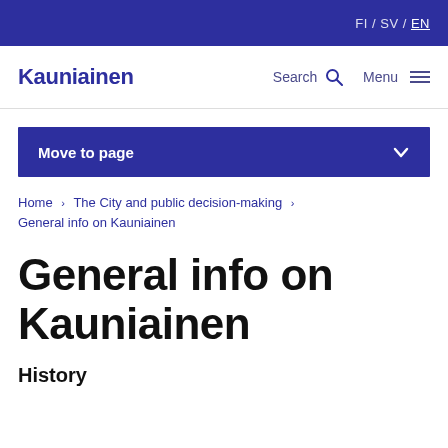FI / SV / EN
Kauniainen
Search  Menu
Move to page
Home > The City and public decision-making > General info on Kauniainen
General info on Kauniainen
History